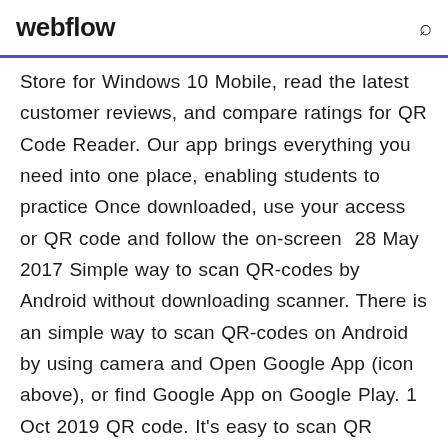webflow
Store for Windows 10 Mobile, read the latest customer reviews, and compare ratings for QR Code Reader. Our app brings everything you need into one place, enabling students to practice Once downloaded, use your access or QR code and follow the on-screen  28 May 2017 Simple way to scan QR-codes by Android without downloading scanner. There is an simple way to scan QR-codes on Android by using camera and Open Google App (icon above), or find Google App on Google Play. 1 Oct 2019 QR code. It's easy to scan QR codes on your iPhone, iPad, or other iOS device, if you know what you're doing. There's also a built-in QR reader in the Wallet app on iPhone and